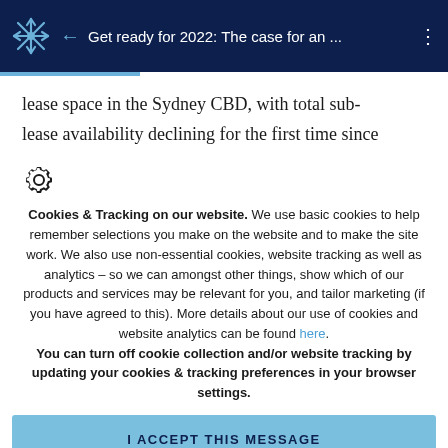Get ready for 2022: The case for an ...
lease space in the Sydney CBD, with total sub-lease availability declining for the first time since
[Figure (illustration): Settings gear icon]
Cookies & Tracking on our website.  We use basic cookies to help remember selections you make on the website and to make the site work. We also use non-essential cookies, website tracking as well as analytics – so we can amongst other things, show which of our products and services may be relevant for you, and tailor marketing (if you have agreed to this). More details about our use of cookies and website analytics can be found here.
You can turn off cookie collection and/or website tracking by updating your cookies & tracking preferences in your browser settings.
I ACCEPT THIS MESSAGE